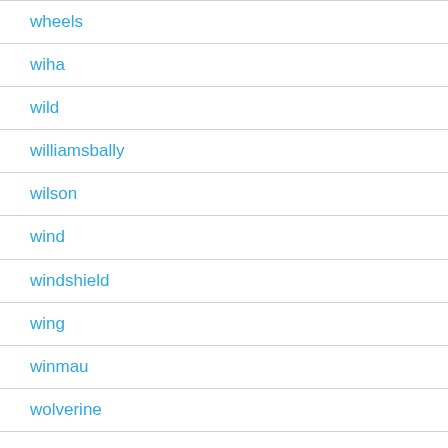wheels
wiha
wild
williamsbally
wilson
wind
windshield
wing
winmau
wolverine
women
women's
wood